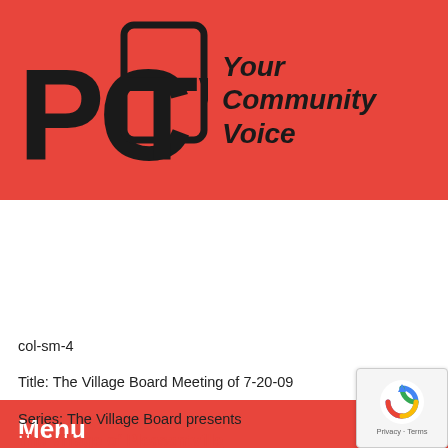[Figure (logo): PCTV logo with stylized text 'PCTV' and tagline 'Your Community Voice' on red background]
Menu
[Figure (other): Black video player area]
col-sm-4
Title: The Village Board Meeting of 7-20-09
Series: The Village Board presents
Airdate: 2009-07-20
Views: 0 this month, 1865 life to date
Hosts:
The Village of Pleasantville
Description:
(more)
Announcements: